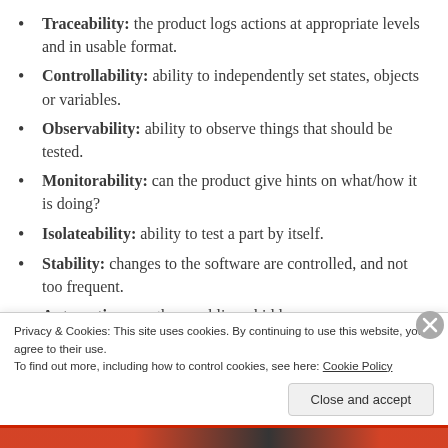Traceability: the product logs actions at appropriate levels and in usable format.
Controllability: ability to independently set states, objects or variables.
Observability: ability to observe things that should be tested.
Monitorability: can the product give hints on what/how it is doing?
Isolateability: ability to test a part by itself.
Stability: changes to the software are controlled, and not too frequent.
Automation: are there public or hidden...
Privacy & Cookies: This site uses cookies. By continuing to use this website, you agree to their use.
To find out more, including how to control cookies, see here: Cookie Policy